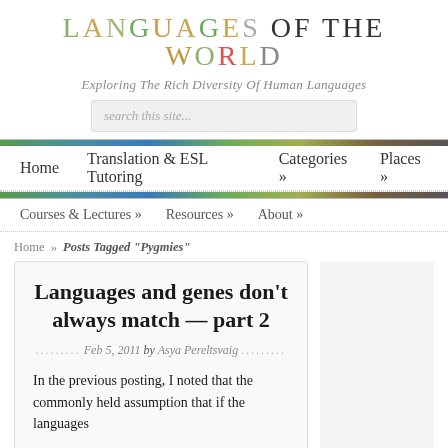LANGUAGES OF THE WORLD
Exploring The Rich Diversity Of Human Languages
search this site...
Home | Translation & ESL Tutoring | Categories » | Places »
Courses & Lectures » | Resources » | About »
Home » Posts Tagged "Pygmies"
Languages and genes don't always match — part 2
Feb 5, 2011 by Asya Pereltsvaig
In the previous posting, I noted that the commonly held assumption that if the languages